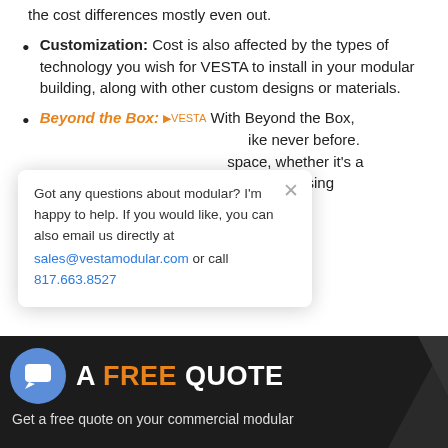the cost differences mostly even out.
Customization: Cost is also affected by the types of technology you wish for VESTA to install in your modular building, along with other custom designs or materials.
Beyond the Box: With Beyond the Box, [like never before.] [space, whether it's a] [n entire housing]
Got any questions about modular? I'm happy to help. If you would like, you can also email us directly at sales@vestamodular.com or call 817.663.8527
A FREE QUOTE
Get a free quote on your commercial modular